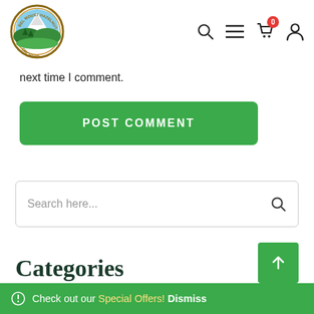[Figure (logo): Bel Moust Hazelnut Orchard circular logo with mountain, trees, and orchard scene]
next time I comment.
POST COMMENT
Search here...
Categories
Check out our Special Offers! Dismiss